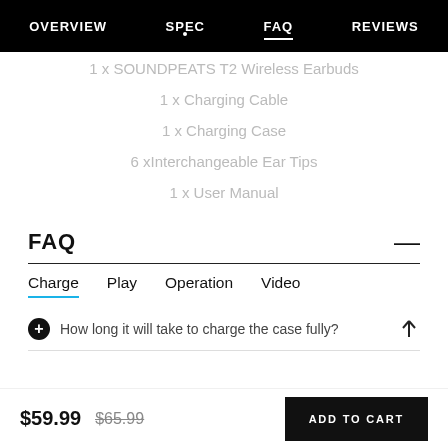OVERVIEW | SPEC | FAQ | REVIEWS
1 x SOUNDPEATS T2 Wireless Earbuds
1 x Charging Cable
1 x Charging Case
6 xInterchangeable Ear Tips
1 x User Manual
FAQ
Charge  Play  Operation  Video
How long it will take to charge the case fully?
$59.99  $65.99  ADD TO CART